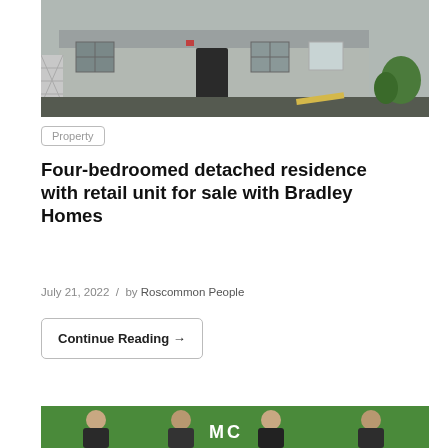[Figure (photo): Exterior photo of a grey detached house with road visible in foreground]
Property
Four-bedroomed detached residence with retail unit for sale with Bradley Homes
July 21, 2022  /  by Roscommon People
Continue Reading →
[Figure (photo): Partial photo showing people in front of a green background, bottom of page]